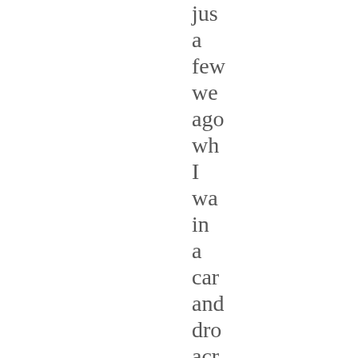jus a few we ago wh I wa in a car and dro acr the bo to Ca and